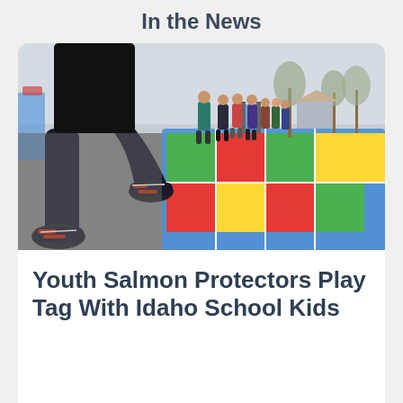In the News
[Figure (photo): Children playing tag on a colorful painted hopscotch/game court in a school playground. In the foreground, close-up of a child's legs jumping, wearing black pants and red/black sneakers. In the background, a line of children in winter clothing, playground equipment, bare trees, and a school building.]
Youth Salmon Protectors Play Tag With Idaho School Kids